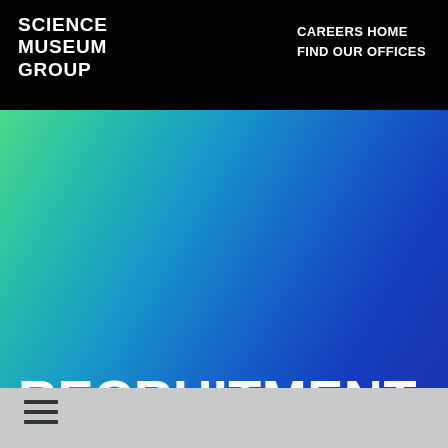SCIENCE MUSEUM GROUP
CAREERS HOME
FIND OUR OFFICES
[Figure (illustration): Full-width gradient hero banner transitioning from green bottom-left to teal to blue top-right]
RECRUITMENT
[Figure (other): Hamburger menu icon (three horizontal lines) in light grey footer bar]